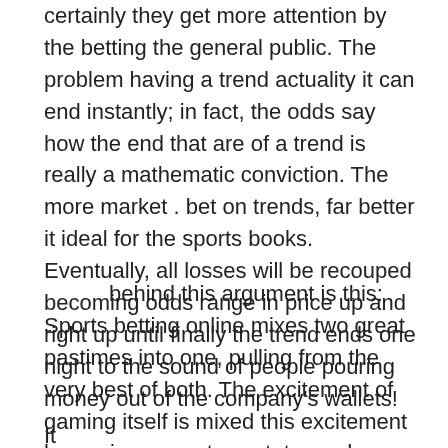certainly they get more attention by the betting the general public. The problem having a trend actuality it can end instantly; in fact, the odds say how the end that are of a trend is really a mathematic conviction. The more market . bet on trends, far better it ideal for the sports books. Eventually, all losses will be recouped becoming odds range in price up and right up until finally the trend ends one night to the sound of people pouring money out of the company's wallets!
behind this argument is this: Sports betting online mixes two great pastimes into one, pulling from the very best of both. The excitement of gaming itself is mixed this excitement becoming a sport spectator and fosters an experience that greatly surpasses either of your specific parts.
It...